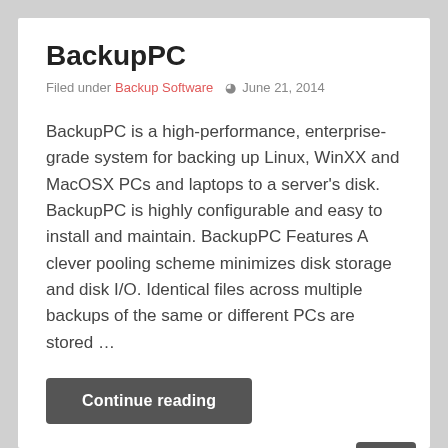BackupPC
Filed under Backup Software  ⊙  June 21, 2014
BackupPC is a high-performance, enterprise-grade system for backing up Linux, WinXX and MacOSX PCs and laptops to a server's disk. BackupPC is highly configurable and easy to install and maintain. BackupPC Features A clever pooling scheme minimizes disk storage and disk I/O. Identical files across multiple backups of the same or different PCs are stored …
Continue reading
[Figure (infographic): Sharing is caring! text with social media icon buttons: Twitter, Facebook, Pinterest, Email, Share. A back-to-top scroll button on the right.]